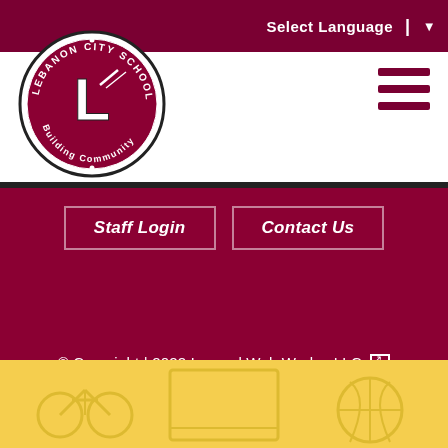Select Language | ▼
[Figure (logo): Lebanon City Schools circular logo with 'L' mascot and text 'Building Community']
[Figure (other): Hamburger menu icon (three horizontal lines)]
Staff Login
Contact Us
© Copyright | 2022 Legend Web Works, LLC [external link]
Privacy Policy | ADA Policy
[Figure (illustration): Yellow background section with faint education-themed icon outlines (bicycle, basketball, figures, chalkboard, etc.)]